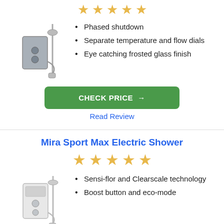[Figure (illustration): Five gold star rating icons in a row at the top]
[Figure (photo): Electric shower unit with rail and hose, grey/silver finish]
Phased shutdown
Separate temperature and flow dials
Eye catching frosted glass finish
CHECK PRICE →
Read Review
Mira Sport Max Electric Shower
[Figure (illustration): Five gold star rating icons in a row]
[Figure (photo): Electric shower unit with rail and hose, white finish]
Sensi-flor and Clearscale technology
Boost button and eco-mode